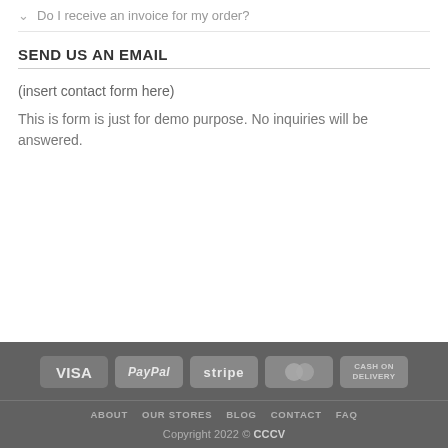Do I receive an invoice for my order?
SEND US AN EMAIL
(insert contact form here)
This is form is just for demo purpose. No inquiries will be answered.
[Figure (logo): Payment method badges: VISA, PayPal, stripe, MasterCard, CASH ON DELIVERY]
ABOUT  OUR STORES  BLOG  CONTACT  FAQ
Copyright 2022 © CCCV